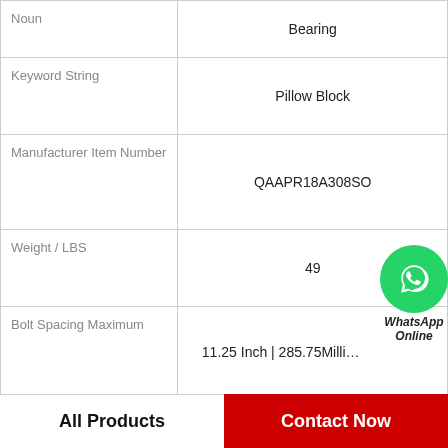| Property | Value |
| --- | --- |
| Noun | Bearing |
| Keyword String | Pillow Block |
| Manufacturer Item Number | QAAPR18A308SO |
| Weight / LBS | 49 |
| Bolt Spacing Maximum | 11.25 Inch | 285.75Millimeter |
| d | 3.5 Inch | 88.9 Millimeter |
| D | 5.18 Inch | 131.572 Millimeter |
| Actual Bolt Center to Center | 0 Inch | 0Millimeter |
[Figure (logo): WhatsApp contact button overlay with green circle phone icon and 'WhatsApp Online' label]
All Products   Contact Now